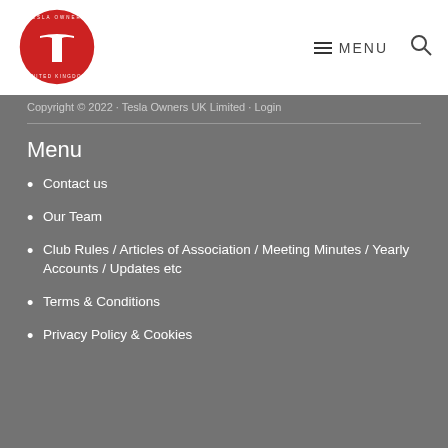[Figure (logo): Tesla Owners United Kingdom red circular logo with Tesla T emblem]
≡ MENU 🔍
Copyright © 2022 · Tesla Owners UK Limited · Login
Menu
Contact us
Our Team
Club Rules / Articles of Association / Meeting Minutes / Yearly Accounts / Updates etc
Terms & Conditions
Privacy Policy & Cookies